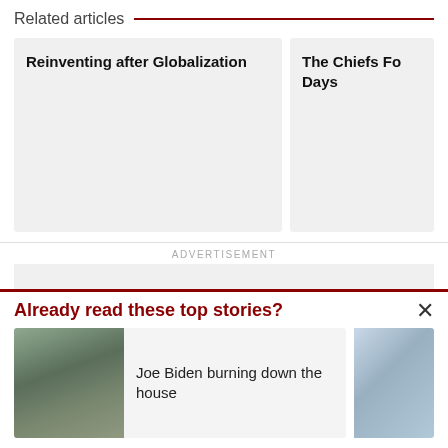Related articles
Reinventing after Globalization
The Chiefs Fo... Days
ADVERTISEMENT
Already read these top stories?
Joe Biden burning down the house
[Figure (photo): Two people walking outdoors]
[Figure (photo): Building exterior partial view]